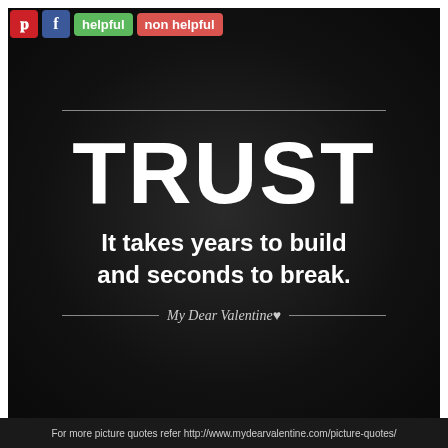[Figure (illustration): Dark textured background with motivational quote about trust. Large bold white text reads TRUST at top, followed by italic lines and a decorative divider with My Dear Valentine script.]
helpful
non helpful
TRUST
It takes years to build and seconds to break.
My Dear Valentine
For more picture quotes refer http://www.mydearvalentine.com/picture-quotes/